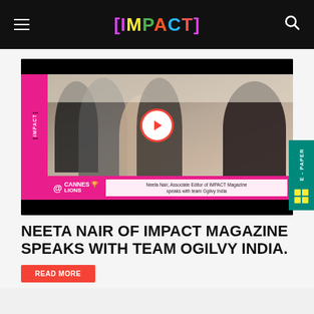[IMPACT]
[Figure (screenshot): Video thumbnail showing Neeta Nair, Associate Editor of IMPACT Magazine, with team Ogilvy India at Cannes Lions. Pink IMPACT branding strip on left, play button overlay, magenta caption bar at bottom.]
NEETA NAIR OF IMPACT MAGAZINE SPEAKS WITH TEAM OGILVY INDIA.